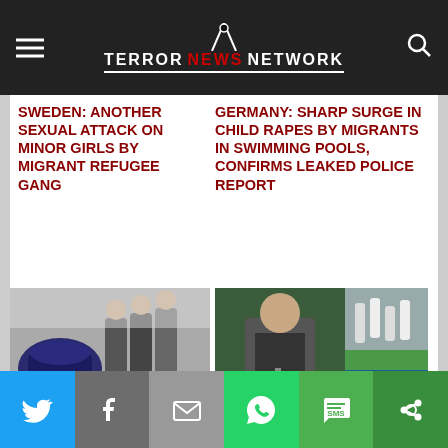TERROR NEWS NETWORK
SWEDEN: ANOTHER SEXUAL ATTACK ON MINOR GIRLS BY MIGRANT REFUGEE GANG
GERMANY: SHARP SURGE IN CHILD RAPES BY MIGRANTS IN SWIMMING POOLS, CONFIRMS LEAKED POLICE REPORT
[Figure (photo): Image showing Brussels bombers at airport with luggage trolleys]
[Figure (photo): Composite image showing Iranian official speaking and missile launches]
BRUSSELS BOMBERS HAD PREPARED A
IRAN: WE'RE READY TO 'RESTART' NUCLEAR ACTIVITIES